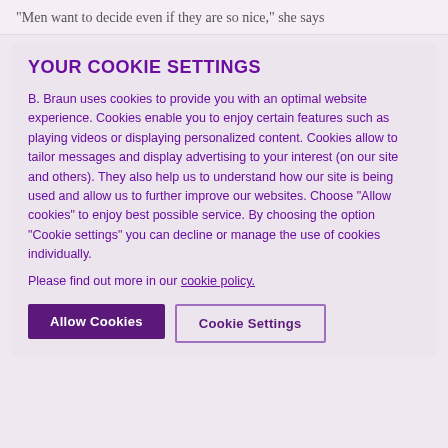“Men want to decide even if they are so nice,” she says
YOUR COOKIE SETTINGS
B. Braun uses cookies to provide you with an optimal website experience. Cookies enable you to enjoy certain features such as playing videos or displaying personalized content. Cookies allow to tailor messages and display advertising to your interest (on our site and others). They also help us to understand how our site is being used and allow us to further improve our websites. Choose "Allow cookies" to enjoy best possible service. By choosing the option "Cookie settings" you can decline or manage the use of cookies individually.
Please find out more in our cookie policy.
Allow Cookies
Cookie Settings